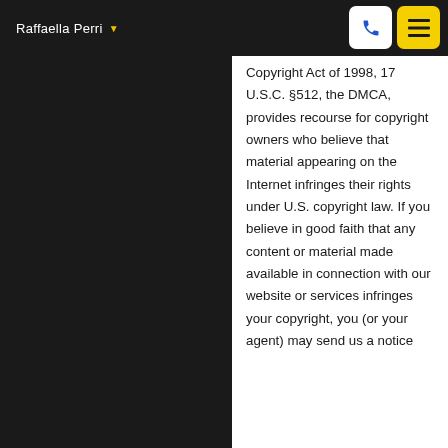Raffaella Perri
Copyright Act of 1998, 17 U.S.C. §512, the DMCA, provides recourse for copyright owners who believe that material appearing on the Internet infringes their rights under U.S. copyright law. If you believe in good faith that any content or material made available in connection with our website or services infringes your copyright, you (or your agent) may send us a notice